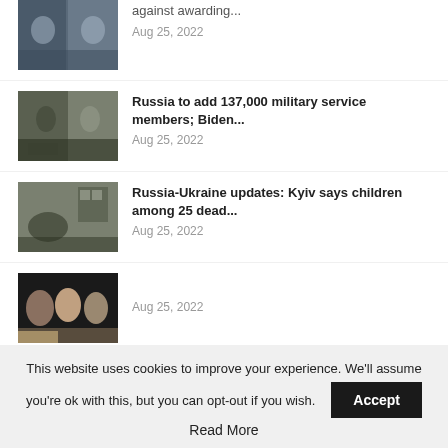[Figure (photo): Partial news item thumbnail at top - people at protest or event]
against awarding...
Aug 25, 2022
[Figure (photo): Military soldiers photo]
Russia to add 137,000 military service members; Biden...
Aug 25, 2022
[Figure (photo): War damage / wreckage scene photo]
Russia-Ukraine updates: Kyiv says children among 25 dead...
Aug 25, 2022
[Figure (photo): Group of people on red carpet - celebrities]
Aug 25, 2022
[Figure (photo): BMW iX car pros and cons graphic with checkmark and X icons]
2022 BMW iX Pros And Cons: Standing On Its Own
Aug 25, 2022
This website uses cookies to improve your experience. We'll assume you're ok with this, but you can opt-out if you wish. Accept Read More